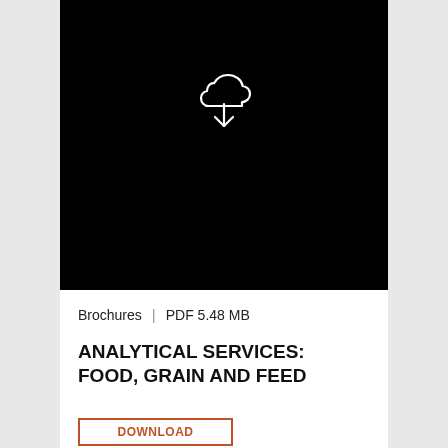[Figure (illustration): Black rectangular area with a white cloud-with-download-arrow icon centered near the top]
Brochures  |  PDF  5.48 MB
ANALYTICAL SERVICES: FOOD, GRAIN AND FEED
DOWNLOAD